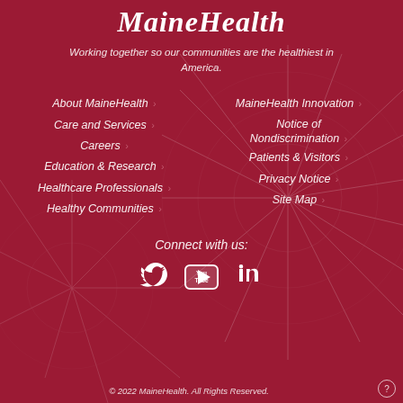MaineHealth
Working together so our communities are the healthiest in America.
About MaineHealth >
Care and Services >
Careers >
Education & Research >
Healthcare Professionals >
Healthy Communities >
MaineHealth Innovation >
Notice of Nondiscrimination >
Patients & Visitors >
Privacy Notice >
Site Map >
Connect with us:
[Figure (logo): Social media icons: Twitter, YouTube, LinkedIn]
© 2022 MaineHealth. All Rights Reserved.